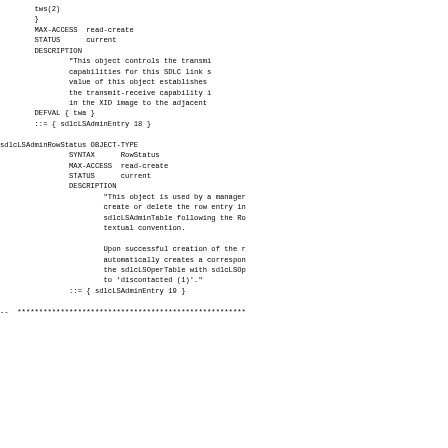tws(2)
        }
        MAX-ACCESS  read-create
        STATUS      current
        DESCRIPTION
                "This object controls the transmi
                capabilities for this SDLC link s
                value of this object establishes
                the transmit-receive capability i
                in the XID image to the adjacent
        DEFVAL { twa }
        ::= { sdlcLSAdminEntry 18 }

sdlcLSAdminRowStatus OBJECT-TYPE
                SYNTAX      RowStatus
                MAX-ACCESS  read-create
                STATUS      current
                DESCRIPTION
                        "This object is used by a manager
                        create or delete the row entry in
                        sdlcLSAdminTable following the Ro
                        textual convention.

                        Upon successful creation of the r
                        automatically creates a correspon
                        the sdlcLSOperTable with sdlcLSOp
                        to 'discontacted (1)'."
                ::= { sdlcLSAdminEntry 19 }

--  *****************************************************